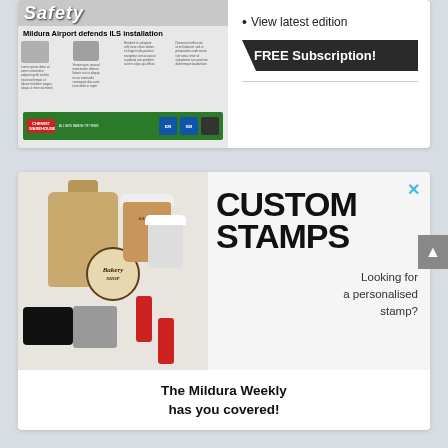[Figure (screenshot): Newspaper thumbnail showing 'Safety' banner, headline 'Midura Airport defends ILS installation', and a Chemist Warehouse advertisement at the bottom]
• View latest edition
FREE Subscription!
[Figure (photo): Custom stamps advertisement showing bakery-branded bags, coffee cups, and various rubber/date stamps on a light grey background]
CUSTOM STAMPS
Looking for a personalised stamp?
The Mildura Weekly has you covered!